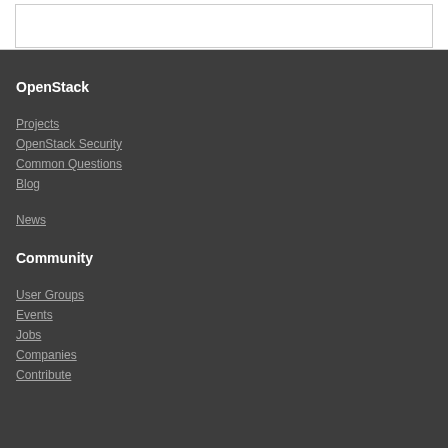OpenStack
Projects
OpenStack Security
Common Questions
Blog
News
Community
User Groups
Events
Jobs
Companies
Contribute